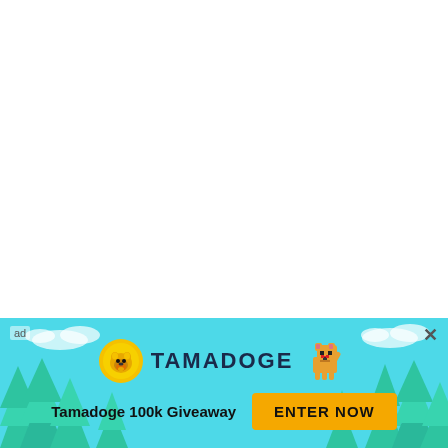ABOUT US
NewsBTC is a cryptocurrency news service that covers bitcoin news today, technical analysis & forecasts for bitcoin price and other altcoins. Here at NewsBTC, we are dedicated to enlightening everyone about bitcoin and
[Figure (infographic): Tamadoge advertisement banner with teal background, pine trees, clouds, Tamadoge coin logo, dog pixel art, 'Tamadoge 100k Giveaway' text and 'ENTER NOW' yellow button. Small 'ad' label top-left and close 'x' button top-right.]